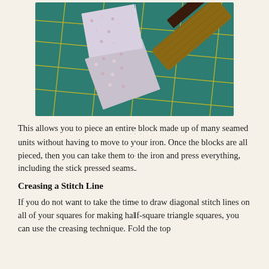[Figure (photo): A photo of fabric pieces with a floral pattern on a green self-healing cutting mat with yellow grid lines, with a wooden pressing tool visible in the upper right corner.]
This allows you to piece an entire block made up of many seamed units without having to move to your iron. Once the blocks are all pieced, then you can take them to the iron and press everything, including the stick pressed seams.
Creasing a Stitch Line
If you do not want to take the time to draw diagonal stitch lines on all of your squares for making half-square triangle squares, you can use the creasing technique. Fold the top